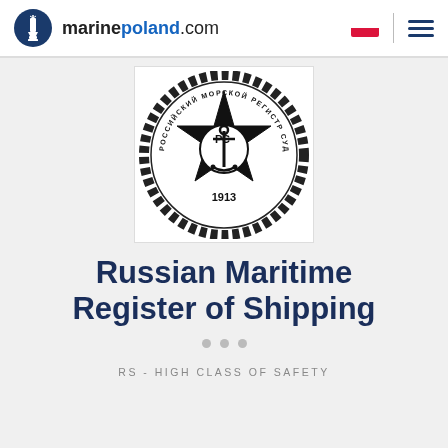marinepoland.com
[Figure (logo): Russian Maritime Register of Shipping emblem — circular rope border with a black star, anchor and 'РС' letters in center, text 'РОССИЙСКИЙ МОРСКОЙ РЕГИСТР СУДОХОДСТВА' around ring, '1913' at bottom]
Russian Maritime Register of Shipping
RS - HIGH CLASS OF SAFETY